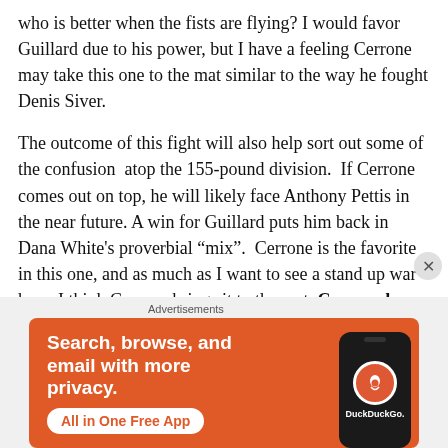who is better when the fists are flying? I would favor Guillard due to his power, but I have a feeling Cerrone may take this one to the mat similar to the way he fought Denis Siver.

The outcome of this fight will also help sort out some of the confusion  atop the 155-pound division.  If Cerrone comes out on top, he will likely face Anthony Pettis in the near future. A win for Guillard puts him back in Dana White's proverbial “mix”.  Cerrone is the favorite in this one, and as much as I want to see a stand up war here, I think Cerrone brings it to the mat. Cerrone by
[Figure (other): DuckDuckGo advertisement banner with orange background. Text: 'Search, browse, and email with more privacy. All in One Free App' with a phone graphic showing DuckDuckGo logo.]